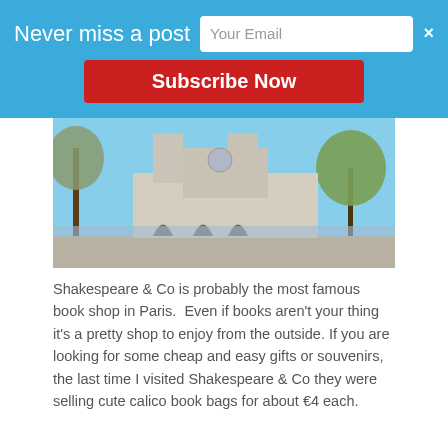[Figure (other): Blue subscription banner overlay with 'Never miss a post' text, email input field, close button, and red Subscribe Now button]
[Figure (photo): Photograph of Notre-Dame Cathedral in Paris, viewed from across the river, with trees on both sides and blue sky]
Shakespeare & Co is probably the most famous book shop in Paris.  Even if books aren't your thing it's a pretty shop to enjoy from the outside. If you are looking for some cheap and easy gifts or souvenirs, the last time I visited Shakespeare & Co they were selling cute calico book bags for about €4 each.